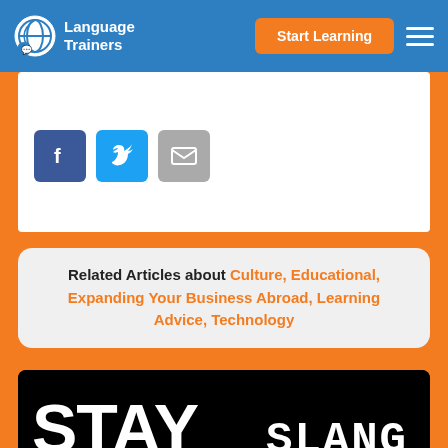Language Trainers | Start Learning
[Figure (screenshot): Social sharing buttons: Facebook (blue), Twitter (light blue), Email (gray)]
Related Articles about Culture, Educational, Expanding Your Business Abroad, Learning Advice, Technology
[Figure (infographic): Black card with bold white text reading STAY TRENDY SLANG 2017]